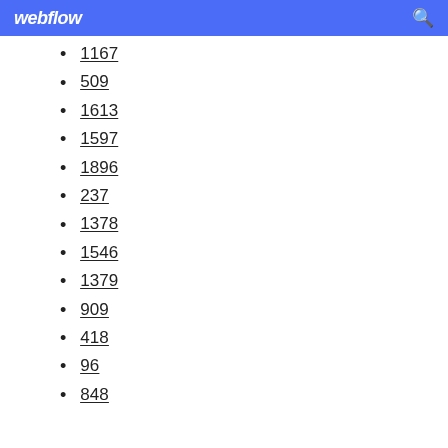webflow
1167
509
1613
1597
1896
237
1378
1546
1379
909
418
96
848